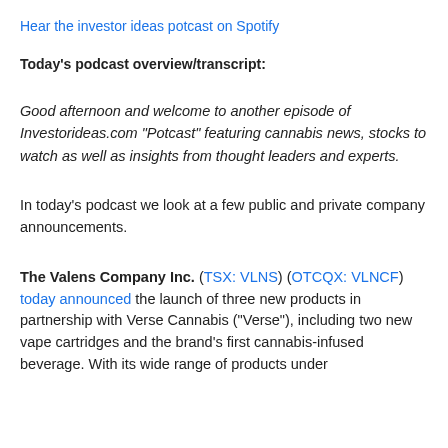Hear the investor ideas potcast on Spotify
Today's podcast overview/transcript:
Good afternoon and welcome to another episode of Investorideas.com "Potcast" featuring cannabis news, stocks to watch as well as insights from thought leaders and experts.
In today's podcast we look at a few public and private company announcements.
The Valens Company Inc. (TSX: VLNS) (OTCQX: VLNCF) today announced the launch of three new products in partnership with Verse Cannabis ("Verse"), including two new vape cartridges and the brand's first cannabis-infused beverage. With its wide range of products under